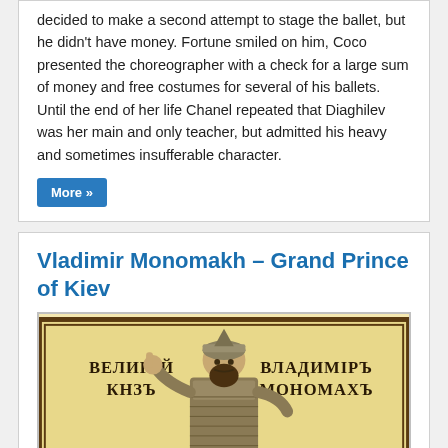decided to make a second attempt to stage the ballet, but he didn't have money. Fortune smiled on him, Coco presented the choreographer with a check for a large sum of money and free costumes for several of his ballets. Until the end of her life Chanel repeated that Diaghilev was her main and only teacher, but admitted his heavy and sometimes insufferable character.
More »
Vladimir Monomakh – Grand Prince of Kiev
[Figure (illustration): Historical illustration of Vladimir Monomakh, Grand Prince of Kiev, wearing a helmet and armor. Cyrillic text on the left reads 'ВЕЛИКІЙ КНЗЪ' and on the right 'ВЛАДИМІРЪ МОНОМАХЪ'. The figure is gesturing with one hand raised.]